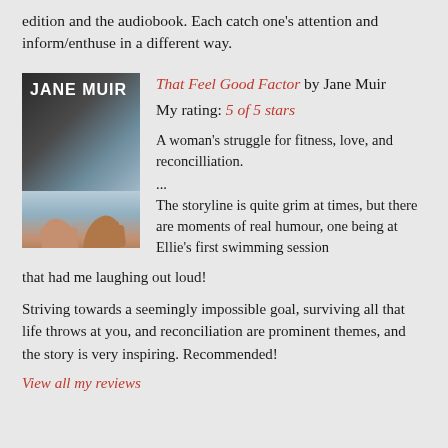edition and the audiobook. Each catch one's attention and inform/enthuse in a different way.
[Figure (illustration): Book cover of 'That Feel Good Factor' by Jane Muir, showing two hands held together on a light blue background, with the title in white text on a pink/magenta banner at the bottom and 'JANE MUIR' in white bold text at the top on a dark background.]
That Feel Good Factor by Jane Muir
My rating: 5 of 5 stars

A woman's struggle for fitness, love, and reconcilliation.

...
The storyline is quite grim at times, but there are moments of real humour, one being at Ellie's first swimming session that had me laughing out loud!
Striving towards a seemingly impossible goal, surviving all that life throws at you, and reconciliation are prominent themes, and the story is very inspiring. Recommended!
View all my reviews